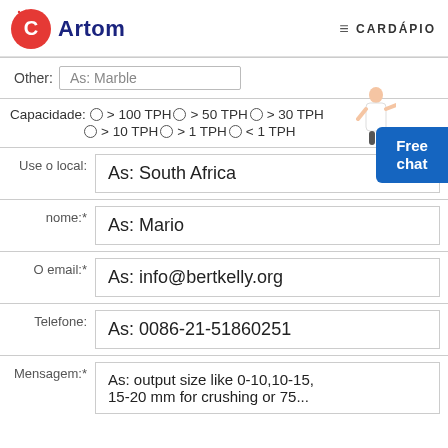Artom — CARDÁPIO
Other: As: Marble
Capacidade: ○ > 100 TPH ○ > 50 TPH ○ > 30 TPH ○ > 10 TPH ○ > 1 TPH ○ < 1 TPH
| Use o local: | As: South Africa |
| nome:* | As: Mario |
| O email:* | As: info@bertkelly.org |
| Telefone: | As: 0086-21-51860251 |
| Mensagem:* | As: output size like 0-10,10-15, 15-20 mm for crushing or 75... |